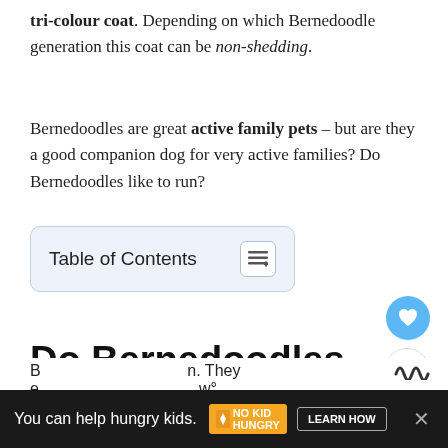tri-colour coat. Depending on which Bernedoodle generation this coat can be non-shedding.
Bernedoodles are great active family pets – but are they a good companion dog for very active families? Do Bernedoodles like to run?
[Figure (screenshot): Table of Contents toggle button with list icon]
[Figure (screenshot): Heart favourite button (blue circle) and share button]
Do Bernedoodles Like to Run?
[Figure (screenshot): WHAT'S NEXT card showing 'How Big Do Bernedoodl...' with dog photo]
B... n. They e... w°
[Figure (screenshot): Ad bar: You can help hungry kids. No Kid Hungry. LEARN HOW]